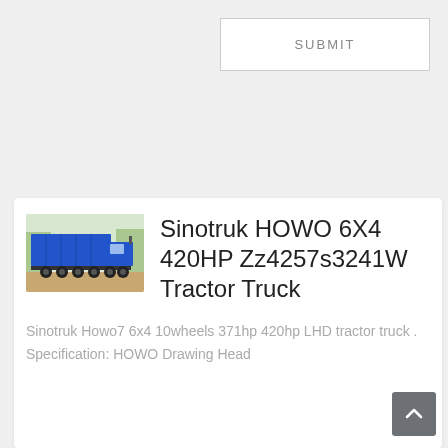SUBMIT
[Figure (photo): Blue Sinotruk HOWO dump truck / tractor truck photographed outdoors with trees in background]
Sinotruk HOWO 6X4 420HP Zz4257s3241W Tractor Truck
Sinotruk Howo7 6x4 10wheels 371hp 420hp LHD tractor truck . Specification: HOWO Drawing Head